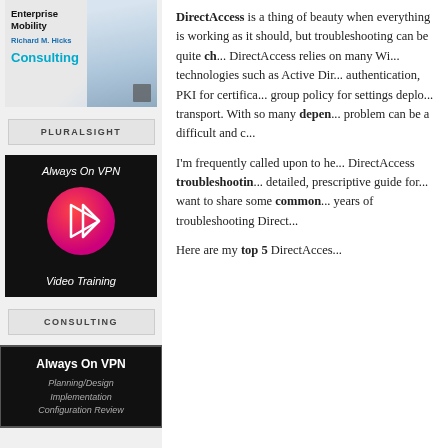[Figure (photo): Enterprise Mobility / Richard M. Hicks Consulting banner with person photo]
PLURALSIGHT
[Figure (illustration): Always On VPN Video Training box with play button on black background]
CONSULTING
[Figure (illustration): Always On VPN Planning/Design Implementation Configuration Review box on black background]
DirectAccess is a thing of beauty when everything is working as it should, but troubleshooting can be quite ch... DirectAccess relies on many Wi... technologies such as Active Dir... authentication, PKI for certifica... group policy for settings deplo... transport. With so many depen... problem can be a difficult and c...
I'm frequently called upon to he... DirectAccess troubleshootin... detailed, prescriptive guide for... want to share some common... years of troubleshooting Direct...
Here are my top 5 DirectAcces...